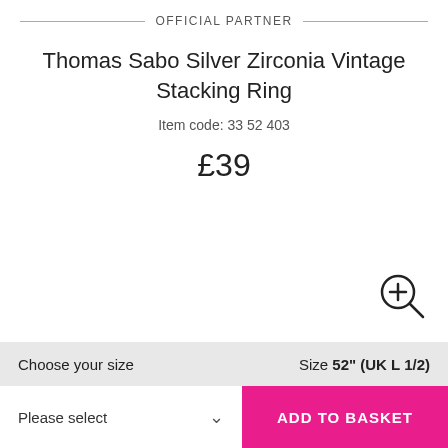OFFICIAL PARTNER
Thomas Sabo Silver Zirconia Vintage Stacking Ring
Item code: 33 52 403
£39
[Figure (illustration): Zoom/magnify icon — circle with plus sign and magnifying glass handle]
Choose your size
Size 52" (UK L 1/2)
Please select
ADD TO BASKET